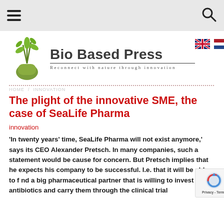Bio Based Press – navigation bar with hamburger menu and search icon
[Figure (logo): Bio Based Press logo: hand holding plant sprigs, with text 'Bio Based Press' and tagline 'Reconnect with nature through innovation'. UK and Netherlands flag icons in top right.]
The plight of the innovative SME, the case of SeaLife Pharma
innovation
'In twenty years' time, SeaLife Pharma will not exist anymore,' says its CEO Alexander Pretsch. In many companies, such a statement would be cause for concern. But Pretsch implies that he expects his company to be successful. I.e. that it will be able to find a big pharmaceutical partner that is willing to invest in its antibiotics and carry them through the clinical trial